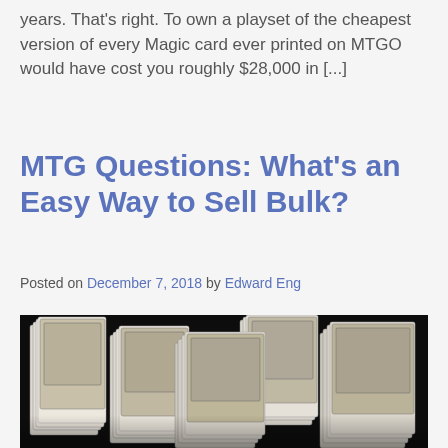years. That's right. To own a playset of the cheapest version of every Magic card ever printed on MTGO would have cost you roughly $28,000 in [...]
MTG Questions: What's an Easy Way to Sell Bulk?
Posted on December 7, 2018 by Edward Eng
[Figure (photo): Stacks of Magic: The Gathering cards piled high on a dark background, showing multiple large piles of white-backed trading cards]